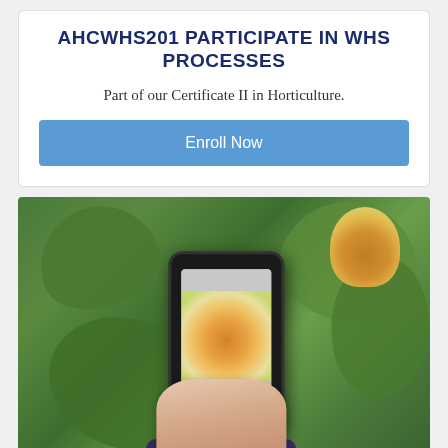AHCWHS201 PARTICIPATE IN WHS PROCESSES
Part of our Certificate II in Horticulture.
Enroll Now
[Figure (photo): A person holding a smartphone displaying a photo of an orange/yellow flower, with green leaves and an orange flower visible in the background outdoors.]